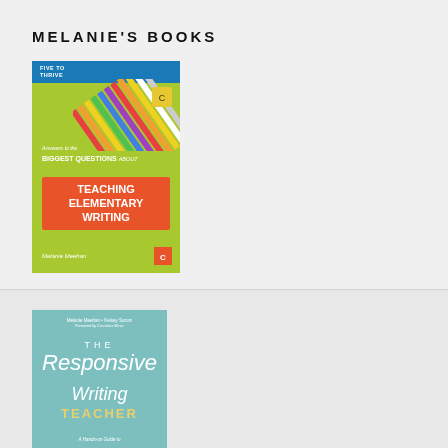MELANIE'S BOOKS
[Figure (illustration): Book cover: Answers to the Biggest Questions about Teaching Elementary Writing by Melanie Meehan. Five to Thrive series. Yellow-green cover with colorful pencils at top and orange title box.]
[Figure (illustration): Book cover: The Responsive Writing Teacher by Melanie Meehan and Kelsey Sorum. Teal cover with white and gold typography.]